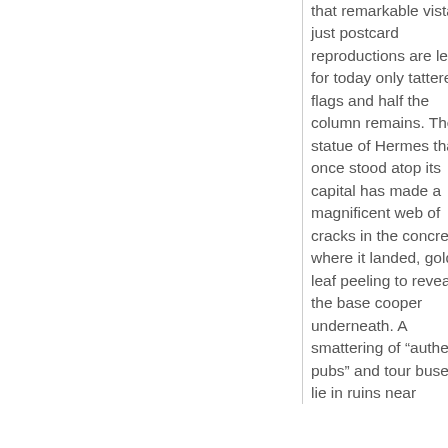that remarkable vista just postcard reproductions are left, for today only tattered flags and half the column remains. The statue of Hermes that once stood atop its capital has made a magnificent web of cracks in the concrete where it landed, gold leaf peeling to reveal the base cooper underneath. A smattering of "authentic pubs" and tour buses lie in ruins near